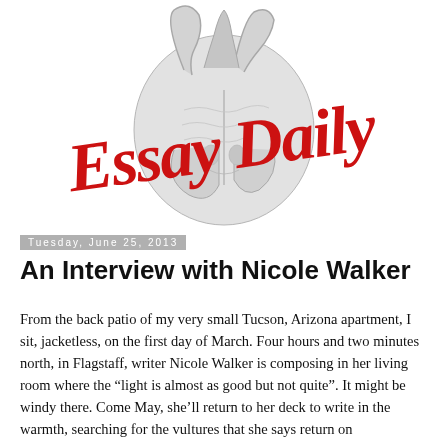[Figure (logo): Essay Daily logo: red cursive script reading 'Essay Daily' overlaid on a grey anatomical heart illustration]
Tuesday, June 25, 2013
An Interview with Nicole Walker
From the back patio of my very small Tucson, Arizona apartment, I sit, jacketless, on the first day of March. Four hours and two minutes north, in Flagstaff, writer Nicole Walker is composing in her living room where the “light is almost as good but not quite”. It might be windy there. Come May, she’ll return to her deck to write in the warmth, searching for the vultures that she says return on